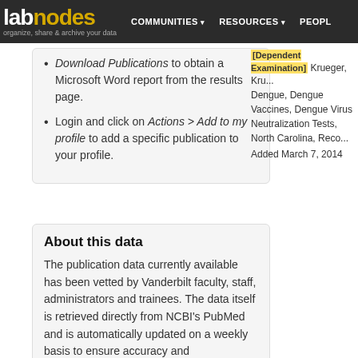labnodes — organize, share & archive your data | COMMUNITIES | RESOURCES | PEOPLE
Download Publications to obtain a Microsoft Word report from the results page.
Login and click on Actions > Add to my profile to add a specific publication to your profile.
[Dependent Examination] Krueger, ...
Dengue, Dengue Vaccines, Dengue Virus Neutralization Tests, North Carolina, Reco...
Added March 7, 2014
About this data
The publication data currently available has been vetted by Vanderbilt faculty, staff, administrators and trainees. The data itself is retrieved directly from NCBI's PubMed and is automatically updated on a weekly basis to ensure accuracy and completeness.